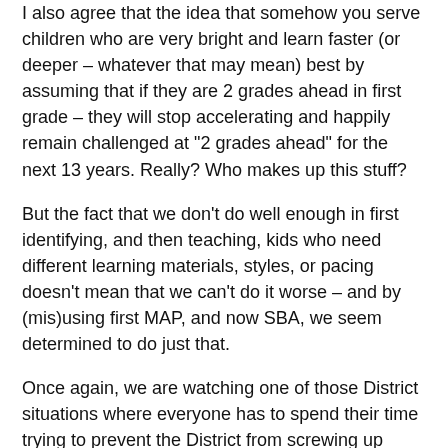I also agree that the idea that somehow you serve children who are very bright and learn faster (or deeper – whatever that may mean) best by assuming that if they are 2 grades ahead in first grade – they will stop accelerating and happily remain challenged at "2 grades ahead" for the next 13 years. Really? Who makes up this stuff?
But the fact that we don't do well enough in first identifying, and then teaching, kids who need different learning materials, styles, or pacing doesn't mean that we can't do it worse – and by (mis)using first MAP, and now SBA, we seem determined to do just that.
Once again, we are watching one of those District situations where everyone has to spend their time trying to prevent the District from screwing up even more badly than it already has – and it is exhausting and time consuming, and prevents parents and educators from using their time and efforts to try to make any of the existing systems better!